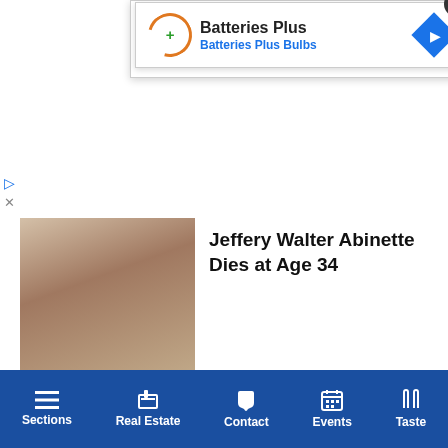[Figure (screenshot): Advertisement overlay for Batteries Plus Bulbs with logo, store name, and navigation arrow]
[Figure (photo): Close-up portrait of a person, associated with news story about Jeffery Walter Abinette]
Jeffery Walter Abinette Dies at Age 34
[Figure (photo): Mugshot-style portrait of a middle-aged man, associated with news story about Riverhead Man DWI crash]
Riverhead Man Gets 8 Years for Fatal DWI Crash
[Figure (photo): Image showing feet/shoes on carpet, associated with story about Public Urged to Kill]
Public Urged to Kill
Sections | Real Estate | Contact | Events | Taste